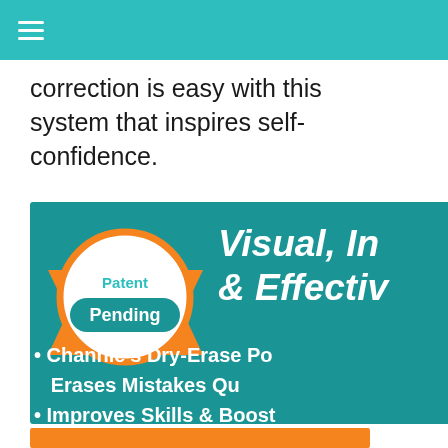☰
correction is easy with this system that inspires self-confidence.
[Figure (infographic): Teal banner with Patent Pending badge (orange ribbon with white circle), heading text 'Visual, In... & Effectiv...' and bullet points: Channie's Dry-Erase Po... Erases Mistakes Qu... • Improves Skills & Boost...]
[Figure (other): Orange bar at bottom of page]